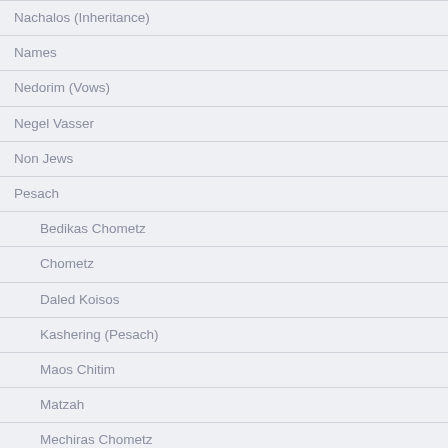Nachalos (Inheritance)
Names
Nedorim (Vows)
Negel Vasser
Non Jews
Pesach
Bedikas Chometz
Chometz
Daled Koisos
Kashering (Pesach)
Maos Chitim
Matzah
Mechiras Chometz
Pesach Cleaning
Seder